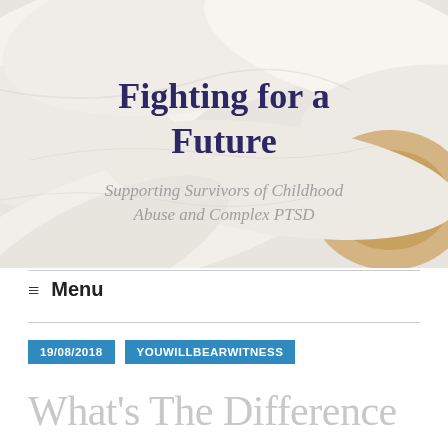[Figure (illustration): White flower close-up banner image with blog title 'Fighting for a Future' in dark navy serif font and subtitle 'Supporting Survivors of Childhood Abuse and Complex PTSD' in italic gray text]
≡ Menu
19/08/2018   YOUWILLBEARWITNESS
What's The Difference